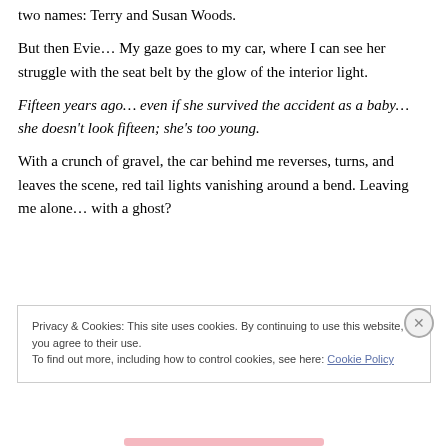two names: Terry and Susan Woods.
But then Evie… My gaze goes to my car, where I can see her struggle with the seat belt by the glow of the interior light.
Fifteen years ago… even if she survived the accident as a baby… she doesn't look fifteen; she's too young.
With a crunch of gravel, the car behind me reverses, turns, and leaves the scene, red tail lights vanishing around a bend. Leaving me alone… with a ghost?
Privacy & Cookies: This site uses cookies. By continuing to use this website, you agree to their use. To find out more, including how to control cookies, see here: Cookie Policy
Close and accept